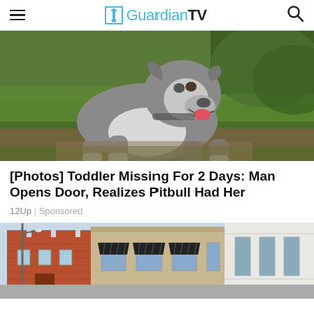GuardianTV
[Figure (photo): Gray and white pitbull dog standing on dirt and grass, mouth open, looking at camera]
[Photos] Toddler Missing For 2 Days: Man Opens Door, Realizes Pitbull Had Her
12Up | Sponsored
[Figure (photo): Street view of commercial brick and stone buildings with black awnings]